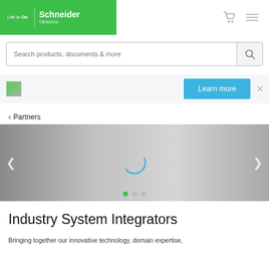[Figure (logo): Schneider Electric logo with 'Life is On' tagline on green background]
[Figure (screenshot): Search bar with placeholder text 'Search products, documents & more' and search icon]
[Figure (screenshot): Banner bar with small image placeholder, 'Learn more' blue button, and X close button]
< Partners
[Figure (screenshot): Slideshow carousel area with gray gradient background, loading spinner, left/right arrows, and three dots (first dot green/active)]
Industry System Integrators
Bringing together our innovative technology, domain expertise,